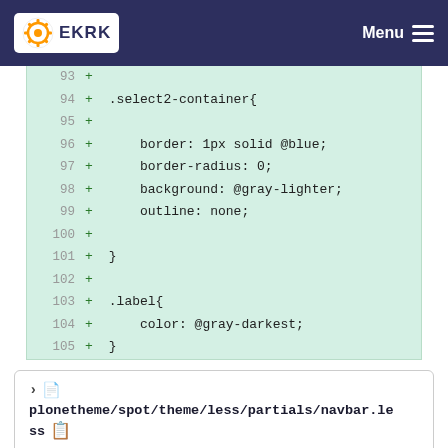EKRK | Menu
[Figure (screenshot): Code diff showing lines 93-105 with added lines for .select2-container and .label CSS rules on green background]
plonetheme/spot/theme/less/partials/navbar.less
[Figure (screenshot): Code diff showing @@ -10,8 +10,33 @@ hunk header with lines 10-12 showing z-index: 4; and text-transform: uppercase;]